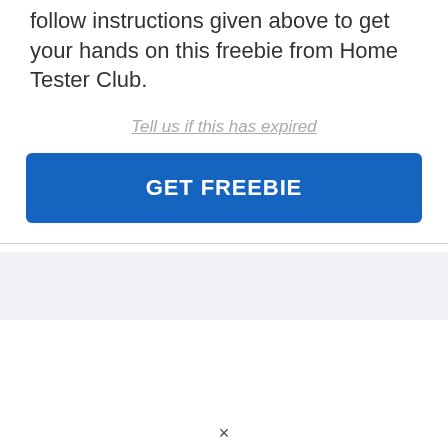follow instructions given above to get your hands on this freebie from Home Tester Club.
Tell us if this has expired
GET FREEBIE